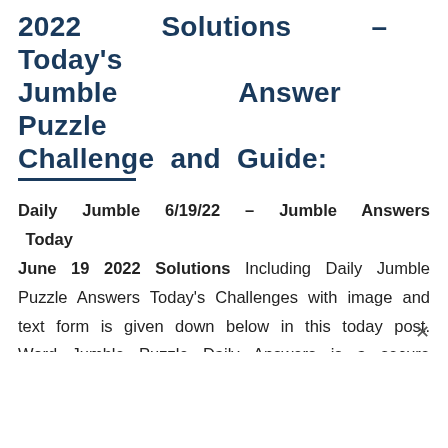2022 Solutions – Today's Jumble Answer Puzzle Challenge and Guide:
Daily Jumble 6/19/22 – Jumble Answers Today June 19 2022 Solutions Including Daily Jumble Puzzle Answers Today's Challenges with image and text form is given down below in this today post. Word Jumble Puzzle Daily Answers is a secure section where we updated all Daily Jumble Puzzle Answer Game every day. Our experts are involved in these